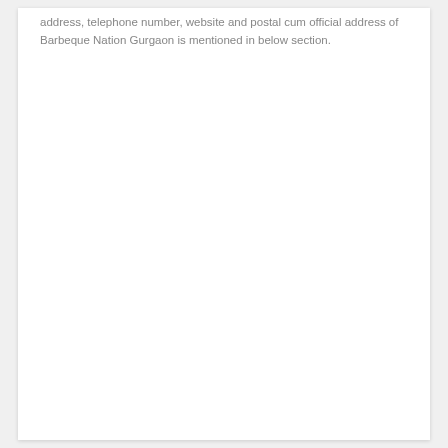address, telephone number, website and postal cum official address of Barbeque Nation Gurgaon is mentioned in below section.